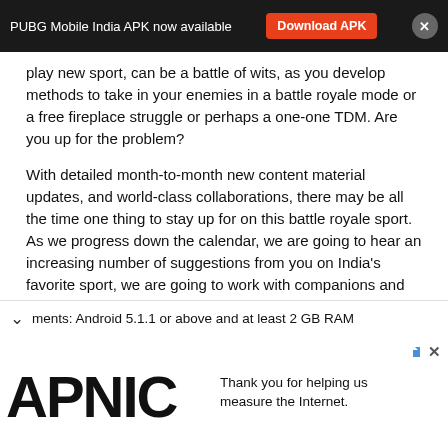PUBG Mobile India APK now available   Download APK   ×
play new sport, can be a battle of wits, as you develop methods to take in your enemies in a battle royale mode or a free fireplace struggle or perhaps a one-one TDM. Are you up for the problem?
With detailed month-to-month new content material updates, and world-class collaborations, there may be all the time one thing to stay up for on this battle royale sport. As we progress down the calendar, we are going to hear an increasing number of suggestions from you on India's favorite sport, we are going to work with companions and convey thrilling new collaborations your manner.
Are you able to expertise #IndiaKaBattlegrounds?
#BATTLEGROUNDSMOBILEINDIA
Requires a secure web connection.
BATTLEGROUNDS MOBILE INDIA recommended system ments: Android 5.1.1 or above and at least 2 GB RAM
[Figure (other): APNIC advertisement banner with logo and text: Thank you for helping us measure the Internet.]